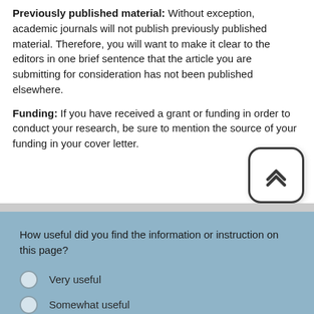Previously published material: Without exception, academic journals will not publish previously published material. Therefore, you will want to make it clear to the editors in one brief sentence that the article you are submitting for consideration has not been published elsewhere.
Funding: If you have received a grant or funding in order to conduct your research, be sure to mention the source of your funding in your cover letter.
How useful did you find the information or instruction on this page?
Very useful
Somewhat useful